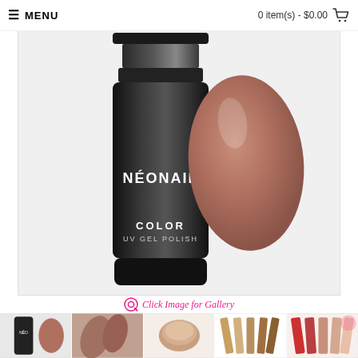MENU   0 item(s) - $0.00
[Figure (photo): NEONAIL Color UV Gel Polish bottle in black with a mauve-nude nail swatch teardrop shape on gray background]
Click Image for Gallery
[Figure (photo): Thumbnail 1: NEONAIL bottle with nail swatch]
[Figure (photo): Thumbnail 2: close up of mauve-nude nail color on fingers]
[Figure (photo): Thumbnail 3: round nail polish tin close-up]
[Figure (photo): Thumbnail 4: nail polish strip color swatches]
[Figure (photo): Thumbnail 5: nail color swatches with red and nude tones]